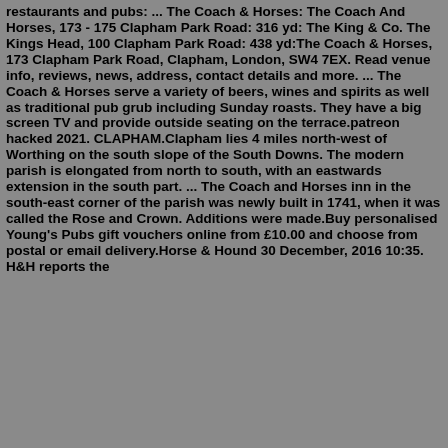restaurants and pubs: ... The Coach & Horses: The Coach And Horses, 173 - 175 Clapham Park Road: 316 yd: The King & Co. The Kings Head, 100 Clapham Park Road: 438 yd:The Coach & Horses, 173 Clapham Park Road, Clapham, London, SW4 7EX. Read venue info, reviews, news, address, contact details and more. ... The Coach & Horses serve a variety of beers, wines and spirits as well as traditional pub grub including Sunday roasts. They have a big screen TV and provide outside seating on the terrace.patreon hacked 2021. CLAPHAM.Clapham lies 4 miles north-west of Worthing on the south slope of the South Downs. The modern parish is elongated from north to south, with an eastwards extension in the south part. ... The Coach and Horses inn in the south-east corner of the parish was newly built in 1741, when it was called the Rose and Crown. Additions were made.Buy personalised Young's Pubs gift vouchers online from £10.00 and choose from postal or email delivery.Horse & Hound 30 December, 2016 10:35. H&H reports the